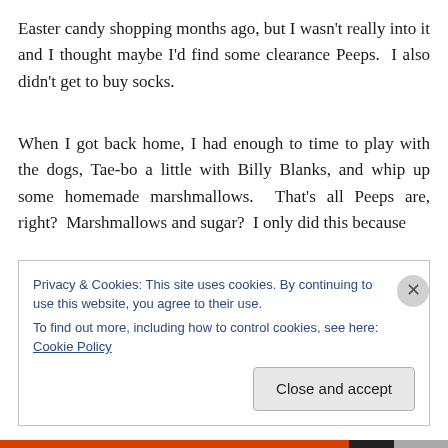Easter candy shopping months ago, but I wasn't really into it and I thought maybe I'd find some clearance Peeps.  I also didn't get to buy socks.
When I got back home, I had enough to time to play with the dogs, Tae-bo a little with Billy Blanks, and whip up some homemade marshmallows.  That's all Peeps are, right?  Marshmallows and sugar?  I only did this because
Privacy & Cookies: This site uses cookies. By continuing to use this website, you agree to their use.
To find out more, including how to control cookies, see here: Cookie Policy